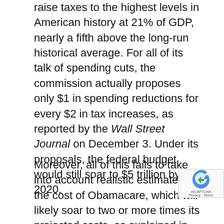raise taxes to the highest levels in American history at 21% of GDP, nearly a fifth above the long-run historical average. For all of its talk of spending cuts, the commission actually proposes only $1 in spending reductions for every $2 in tax increases, as reported by the Wall Street Journal on December 3. Under its proposals, the federal budget would still soar to $5 trillion by 2020.
Moreover, all of this fails to take into account realistic estimates of the cost of Obamacare, which will likely soar to two or more times its projected costs, as explained in detail in my Heartland Institute study, The Obamacare Disaster: An Appraisal of the Patient Protection and Affordable Care Act. President Obama's Debt Commission, of course, keeps Obamacare intact, adopting or sharply expanding three entitlement programs.